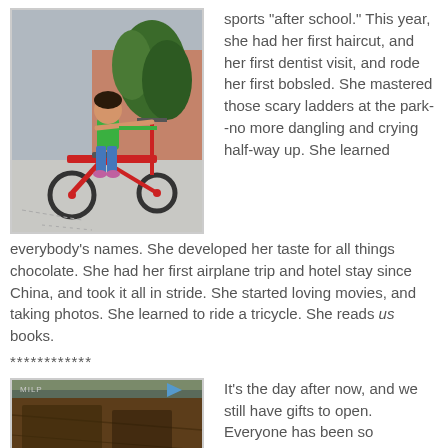[Figure (photo): Young girl riding a red tricycle outdoors in a parking area, with plants and a brick wall in the background. She is wearing a green shirt and jeans.]
sports "after school." This year, she had her first haircut, and her first dentist visit, and rode her first bobsled. She mastered those scary ladders at the park--no more dangling and crying half-way up. She learned everybody's names. She developed her taste for all things chocolate. She had her first airplane trip and hotel stay since China, and took it all in stride. She started loving movies, and taking photos. She learned to ride a tricycle. She reads us books.
************
[Figure (photo): Close-up interior photo, dark and blurry, showing what appears to be the inside of a vehicle or enclosed space, with a small blue light visible.]
It's the day after now, and we still have gifts to open. Everyone has been so generous and loving towards our little girl. It was a very busy birthday. We all woke